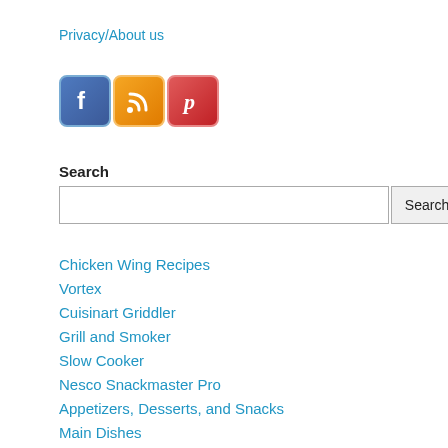Privacy/About us
[Figure (illustration): Social media icons: Facebook (blue square with 'f'), RSS (orange square with RSS symbol), Pinterest (red square with 'p' logo)]
Search
Search (input box and button)
Chicken Wing Recipes
Vortex
Cuisinart Griddler
Grill and Smoker
Slow Cooker
Nesco Snackmaster Pro
Appetizers, Desserts, and Snacks
Main Dishes
Side Dishes and Salads
Breads and Pastries
Sauces and Seasonings